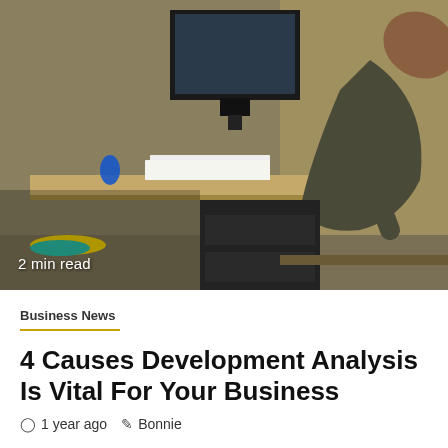[Figure (photo): Office scene with a person leaning back at a desk, computer monitor visible, Coca-Cola can on desk, colorful objects, cubicle walls. Badge showing '2 min read' in bottom left.]
Business News
4 Causes Development Analysis Is Vital For Your Business
1 year ago   Bonnie
The Healthful Life program seeks to handle weight-related nicely being factors for kids by offering caring suppliers, family-centered treatment to encourage...